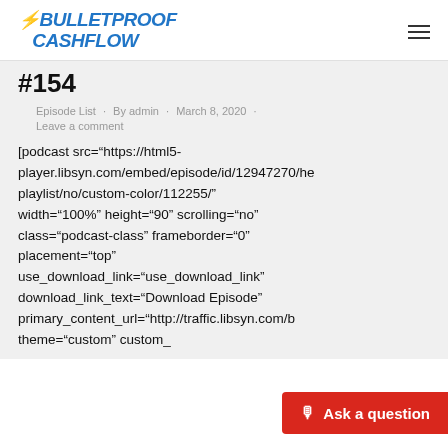BULLETPROOF CASHFLOW
#154
Episode List · By admin · March 8, 2020 · Leave a comment
[podcast src="https://html5-player.libsyn.com/embed/episode/id/12947270/he playlist/no/custom-color/112255/" width="100%" height="90" scrolling="no" class="podcast-class" frameborder="0" placement="top" use_download_link="use_download_link" download_link_text="Download Episode" primary_content_url="http://traffic.libsyn.com/b theme="custom" custom_